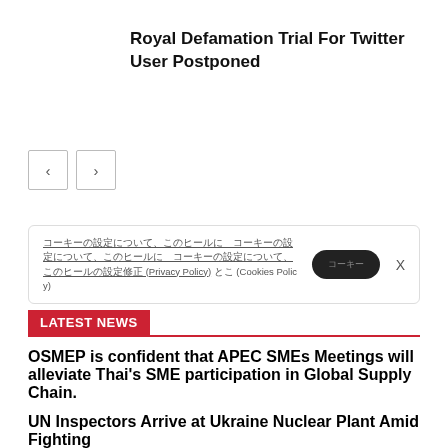Royal Defamation Trial For Twitter User Postponed
[Figure (other): Navigation previous and next arrow buttons]
Cookie consent bar with privacy policy and cookies policy links and accept button and close X
LATEST NEWS
OSMEP is confident that APEC SMEs Meetings will alleviate Thai's SME participation in Global Supply Chain.
UN Inspectors Arrive at Ukraine Nuclear Plant Amid Fighting